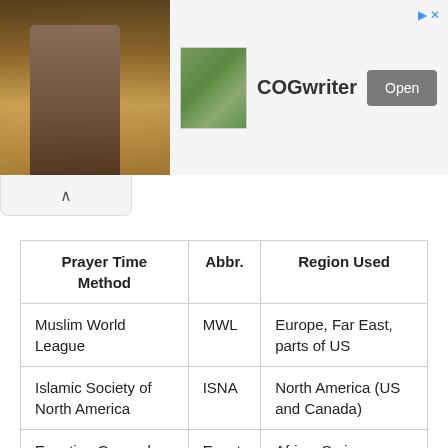[Figure (screenshot): Advertisement banner showing a religious figure image on the left, a book thumbnail, COGwriter text, and an Open button on the right]
| Prayer Time Method | Abbr. | Region Used |
| --- | --- | --- |
| Muslim World League | MWL | Europe, Far East, parts of US |
| Islamic Society of North America | ISNA | North America (US and Canada) |
| Egyptian General Authority of Survey | Egypt | Africa, Syria, Lebanon, Malaysia |